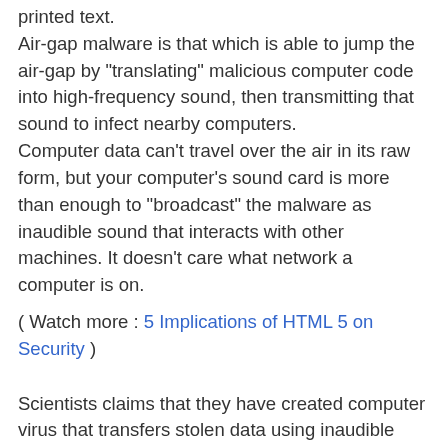printed text. Air-gap malware is that which is able to jump the air-gap by "translating" malicious computer code into high-frequency sound, then transmitting that sound to infect nearby computers. Computer data can't travel over the air in its raw form, but your computer's sound card is more than enough to "broadcast" the malware as inaudible sound that interacts with other machines. It doesn't care what network a computer is on.
( Watch more : 5 Implications of HTML 5 on Security )
Scientists claims that they have created computer virus that transfers stolen data using inaudible sounds Just using the built-in speakers and microphone in a pair of commercially available laptops, the researchers were able to transfer small amounts of sensitive data across a distance of almost 65 feet(This distance can be increased using network of controlled devices). The Scientists build the software but the One significant drawback of the that the data transmission rate was only 20 bits per second - enough to send basic text, but too small to transfer any larger multimedia, such